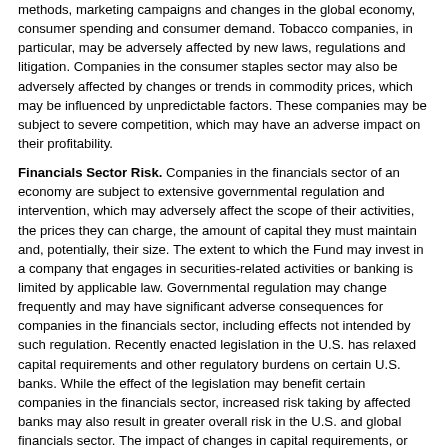methods, marketing campaigns and changes in the global economy, consumer spending and consumer demand. Tobacco companies, in particular, may be adversely affected by new laws, regulations and litigation. Companies in the consumer staples sector may also be adversely affected by changes or trends in commodity prices, which may be influenced by unpredictable factors. These companies may be subject to severe competition, which may have an adverse impact on their profitability.
Financials Sector Risk. Companies in the financials sector of an economy are subject to extensive governmental regulation and intervention, which may adversely affect the scope of their activities, the prices they can charge, the amount of capital they must maintain and, potentially, their size. The extent to which the Fund may invest in a company that engages in securities-related activities or banking is limited by applicable law. Governmental regulation may change frequently and may have significant adverse consequences for companies in the financials sector, including effects not intended by such regulation. Recently enacted legislation in the U.S. has relaxed capital requirements and other regulatory burdens on certain U.S. banks. While the effect of the legislation may benefit certain companies in the financials sector, increased risk taking by affected banks may also result in greater overall risk in the U.S. and global financials sector. The impact of changes in capital requirements, or recent or future regulation in various countries, on any individual financial company or on the financials sector as a whole cannot be predicted.
Certain risks may impact the value of investments in the financials sector more severely than those of investments outside this sector, including the risks associated with companies that operate with substantial financial leverage. Companies in the financials sector are exposed directly to the credit risk of their borrowers and counterparties, who may be leveraged to an unknown degree, including through swaps and other derivatives products. Financial services